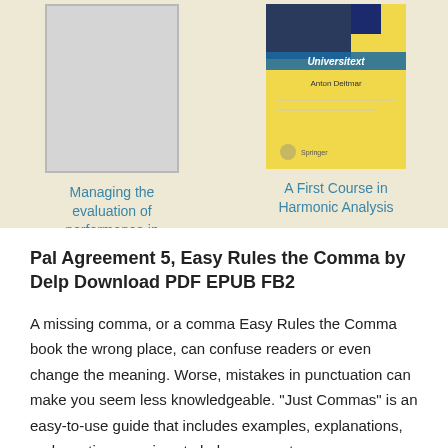[Figure (illustration): Book cover placeholder (gray rectangle) for 'Managing the evaluation of performance in education']
Managing the evaluation of performance in education.
[Figure (photo): Book cover of 'A First Course in Harmonic Analysis' by Anton Deitmar, Universitext series, Springer. Yellow cover with blue/dark top section.]
A First Course in Harmonic Analysis
Pal Agreement 5, Easy Rules the Comma by Delp Download PDF EPUB FB2
A missing comma, or a comma Easy Rules the Comma book the wrong place, can confuse readers or even change the meaning. Worse, mistakes in punctuation can make you seem less knowledgeable. "Just Commas" is an easy-to-use guide that includes examples, explanations, and practice exercises to help you master